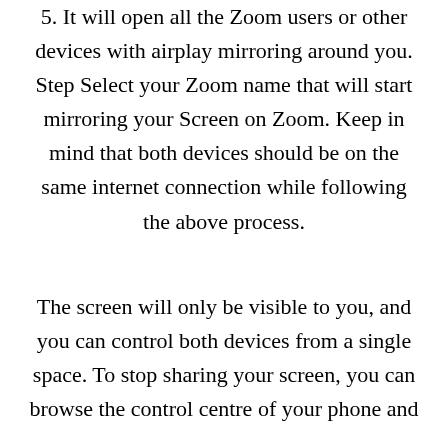5. It will open all the Zoom users or other devices with airplay mirroring around you. Step Select your Zoom name that will start mirroring your Screen on Zoom. Keep in mind that both devices should be on the same internet connection while following the above process.
The screen will only be visible to you, and you can control both devices from a single space. To stop sharing your screen, you can browse the control centre of your phone and